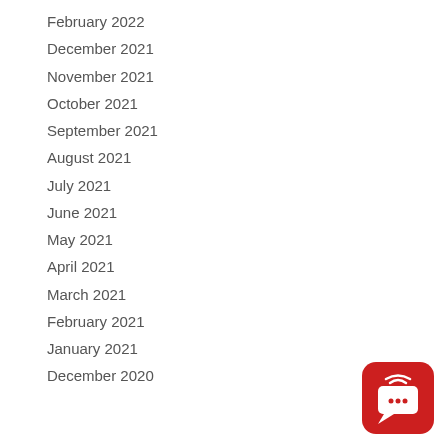February 2022
December 2021
November 2021
October 2021
September 2021
August 2021
July 2021
June 2021
May 2021
April 2021
March 2021
February 2021
January 2021
December 2020
[Figure (logo): Red rounded square icon with a white broadcast/wifi speech bubble symbol and three dots, resembling a chat/podcast app icon]